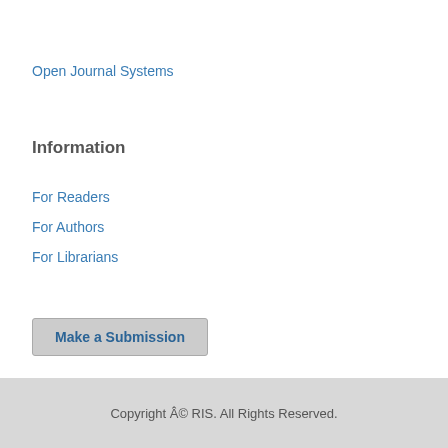Open Journal Systems
Information
For Readers
For Authors
For Librarians
Make a Submission
Copyright © RIS. All Rights Reserved.